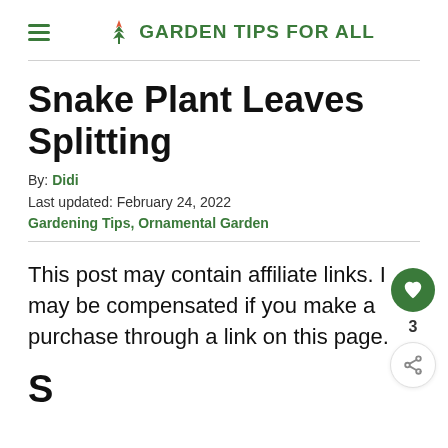GARDEN TIPS FOR ALL
Snake Plant Leaves Splitting
By: Didi
Last updated: February 24, 2022
Gardening Tips, Ornamental Garden
This post may contain affiliate links. I may be compensated if you make a purchase through a link on this page.